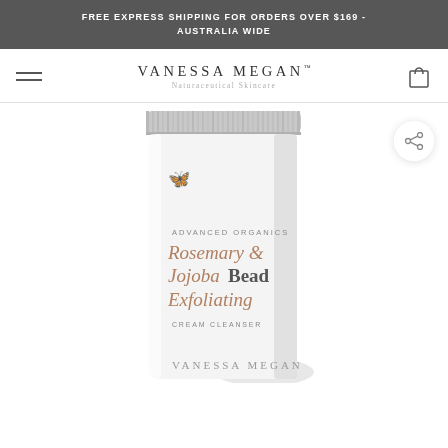FREE EXPRESS SHIPPING FOR ORDERS OVER $169 - AUSTRALIA WIDE
[Figure (logo): Vanessa Megan Naturaceutical Skincare logo with hamburger menu and cart icon in navigation bar]
[Figure (photo): Vanessa Megan Advanced Organics Rosemary & Jojoba Bead Exfoliating Cream Cleanser product tube, white with butterfly motif and gold/rose text, shown at an angle with shadow, on white background]